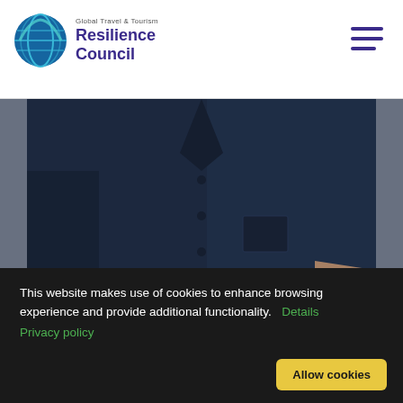[Figure (logo): Global Travel & Tourism Resilience Council logo with globe icon and purple text]
[Figure (photo): Person wearing a dark navy blue shirt with arms crossed, torso/chest view, against a grey background]
President and Founder, BlaBlaCar
This website makes use of cookies to enhance browsing experience and provide additional functionality. Details Privacy policy